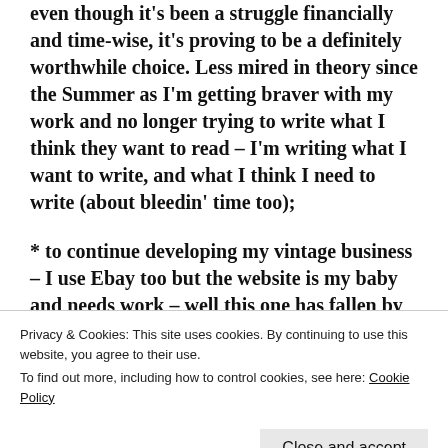even though it's been a struggle financially and time-wise, it's proving to be a definitely worthwhile choice. Less mired in theory since the Summer as I'm getting braver with my work and no longer trying to write what I think they want to read – I'm writing what I want to write, and what I think I need to write (about bleedin' time too);
* to continue developing my vintage business – I use Ebay too but the website is my baby and needs work – well this one has fallen by the wayside, but if something had to then I'm glad this was it. Ticking along but hasn't really been updated as I hoped.
Privacy & Cookies: This site uses cookies. By continuing to use this website, you agree to their use.
To find out more, including how to control cookies, see here: Cookie Policy
* to plan a roadtrip (last one was Edinburgh to